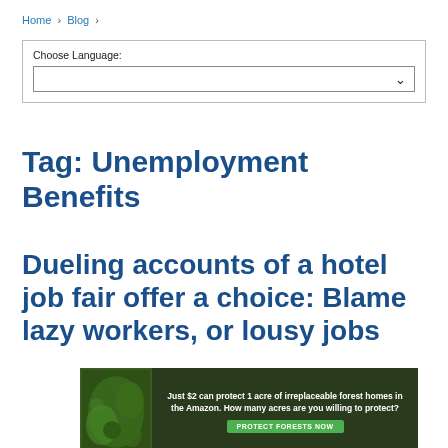Home > Blog >
Choose Language:
Tag: Unemployment Benefits
Dueling accounts of a hotel job fair offer a choice: Blame lazy workers, or lousy jobs
[Figure (other): Advertisement banner: Just $2 can protect 1 acre of irreplaceable forest homes in the Amazon. How many acres are you willing to protect? PROTECT FORESTS NOW]
x